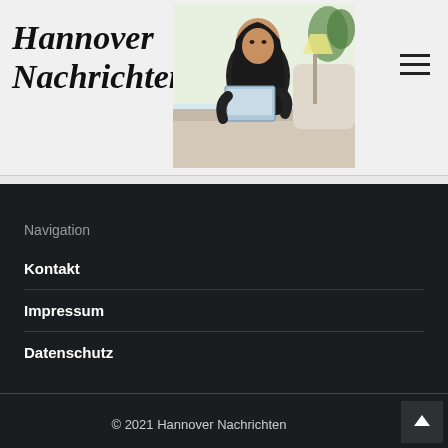Hannover Nachrichten
[Figure (photo): Woman sitting on couch reading a tablet/magazine, dark hair, black clothing, bright indoor background]
Navigation
Kontakt
Impressum
Datenschutz
© 2021 Hannover Nachrichten